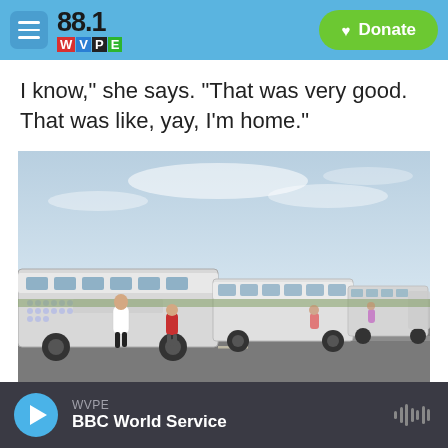88.1 WVPE | Donate
I know," she says. "That was very good. That was like, yay, I'm home."
[Figure (photo): A long line of buses parked on a road with people walking alongside them. Overcast sky. Appears to be an evacuation or convoy scene.]
WVPE — BBC World Service